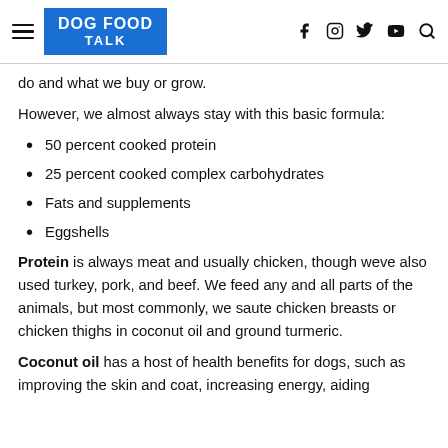DOG FOOD TALK
do and what we buy or grow.
However, we almost always stay with this basic formula:
50 percent cooked protein
25 percent cooked complex carbohydrates
Fats and supplements
Eggshells
Protein is always meat and usually chicken, though weve also used turkey, pork, and beef. We feed any and all parts of the animals, but most commonly, we saute chicken breasts or chicken thighs in coconut oil and ground turmeric.
Coconut oil has a host of health benefits for dogs, such as improving the skin and coat, increasing energy, aiding